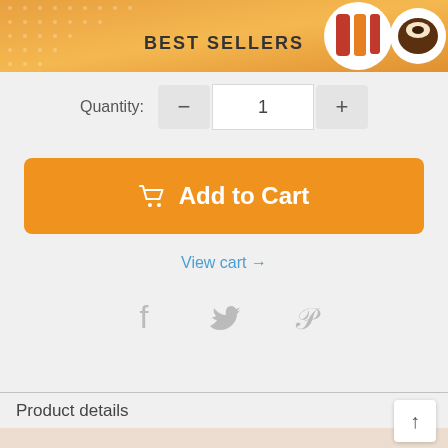[Figure (screenshot): E-commerce page header banner with 'BEST SELLERS' text and product thumbnails on orange background]
Quantity: — 1 +
Add to Cart
View cart →
[Figure (other): Social media icons: Facebook, Twitter, Pinterest in grey]
Product details
[Figure (photo): Partial product photo visible at bottom of page]